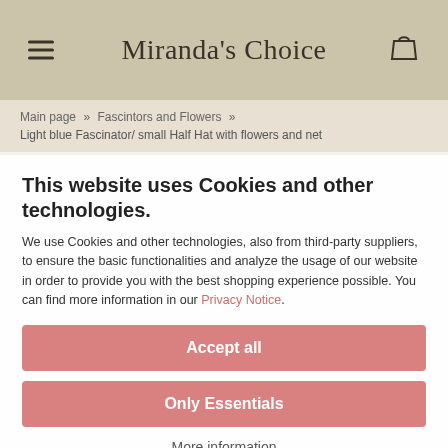Miranda's Choice
Main page » Fascintors and Flowers » Light blue Fascinator/ small Half Hat with flowers and net
This website uses Cookies and other technologies.
We use Cookies and other technologies, also from third-party suppliers, to ensure the basic functionalities and analyze the usage of our website in order to provide you with the best shopping experience possible. You can find more information in our Privacy Notice.
Accept all
Only Essentials
More information